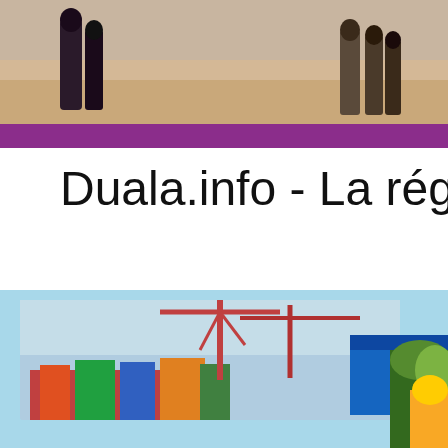[Figure (photo): Top photo showing people walking on sandy ground, with a purple bar at the bottom of the image area]
Duala.info - La rég
[Figure (photo): Bottom composite photo showing a port/harbour with cranes and shipping containers on the left, a blue sea/ocean in the middle, and tropical vegetation on the right, on a light blue background]